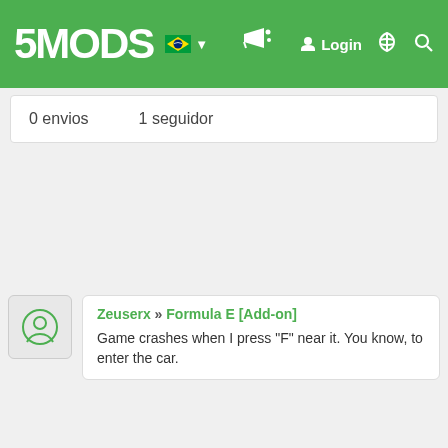5MODS | Login
0 envios   1 seguidor
Zeuserx » Formula E [Add-on]
Game crashes when I press "F" near it. You know, to enter the car.